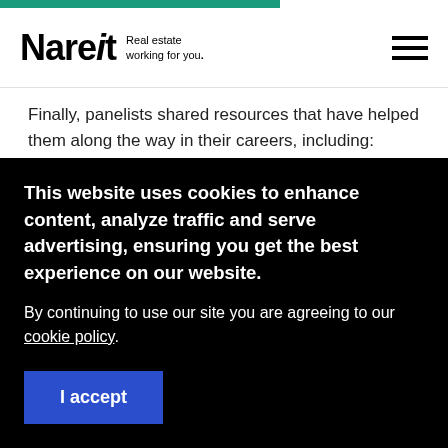Nareit Real estate working for you.
Finally, panelists shared resources that have helped them along the way in their careers, including:
Nareit's Real Estate Sustainability Council
ULI's Foundations of Real Estate certificate
This website uses cookies to enhance content, analyze traffic and serve advertising, ensuring you get the best experience on our website.

By continuing to use our site you are agreeing to our cookie policy.

I accept